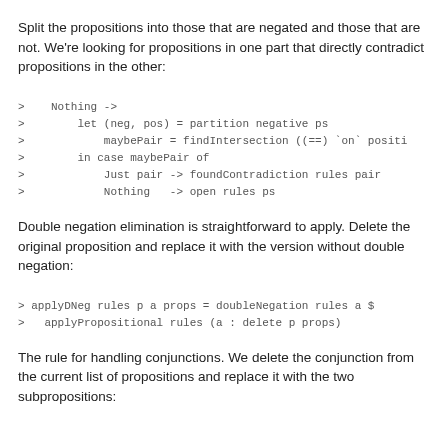Split the propositions into those that are negated and those that are not. We're looking for propositions in one part that directly contradict propositions in the other:
> Nothing ->
>     let (neg, pos) = partition negative ps
>         maybePair = findIntersection ((==) `on` positi
>     in case maybePair of
>         Just pair -> foundContradiction rules pair
>         Nothing   -> open rules ps
Double negation elimination is straightforward to apply. Delete the original proposition and replace it with the version without double negation:
> applyDNeg rules p a props = doubleNegation rules a $
>   applyPropositional rules (a : delete p props)
The rule for handling conjunctions. We delete the conjunction from the current list of propositions and replace it with the two subpropositions: